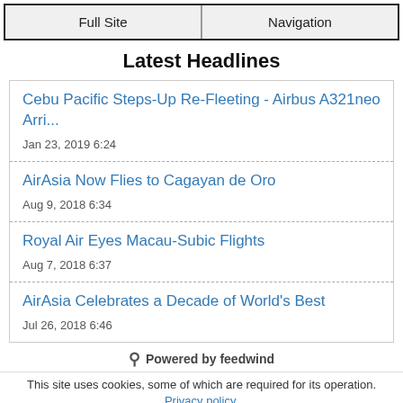Full Site | Navigation
Latest Headlines
Cebu Pacific Steps-Up Re-Fleeting - Airbus A321neo Arri...
Jan 23, 2019 6:24
AirAsia Now Flies to Cagayan de Oro
Aug 9, 2018 6:34
Royal Air Eyes Macau-Subic Flights
Aug 7, 2018 6:37
AirAsia Celebrates a Decade of World's Best
Jul 26, 2018 6:46
Powered by feedwind
This site uses cookies, some of which are required for its operation. Privacy policy.
Agree and Continue